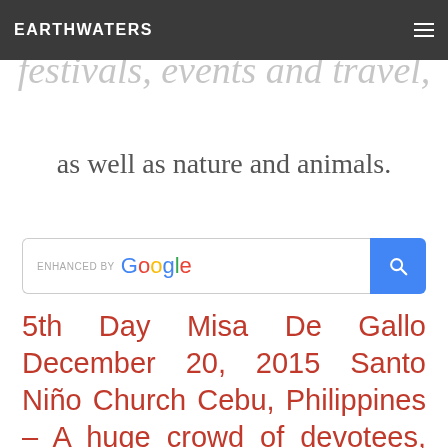EARTHWATERS
things,
festivals, events and travel,
as well as nature and animals.
[Figure (screenshot): Google search bar with 'ENHANCED BY Google' label and blue search button with magnifying glass icon]
5th Day Misa De Gallo December 20, 2015 Santo Niño Church Cebu, Philippines – A huge crowd of devotees, but still couldn't match the 1st day...